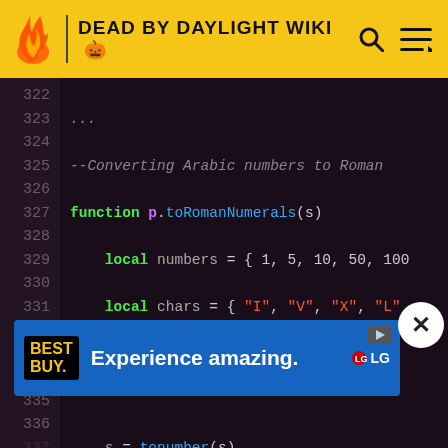DEAD BY DAYLIGHT WIKI
[Figure (screenshot): Code editor showing Lua code for converting Arabic numbers to Roman numerals, lines 322-340. Dark background with syntax highlighting. Lines 322-336 are visible with colored keywords.]
[Figure (infographic): Best Buy advertisement banner: 'Experience amazing.' with LG branding on blue background.]